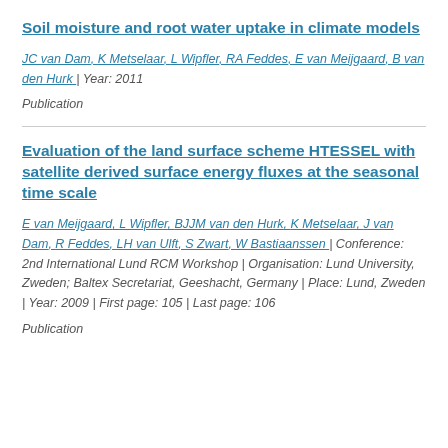Soil moisture and root water uptake in climate models
JC van Dam, K Metselaar, L Wipfler, RA Feddes, E van Meijgaard, B van den Hurk | Year: 2011
Publication
Evaluation of the land surface scheme HTESSEL with satellite derived surface energy fluxes at the seasonal time scale
E van Meijgaard, L Wipfler, BJJM van den Hurk, K Metselaar, J van Dam, R Feddes, LH van Ulft, S Zwart, W Bastiaanssen | Conference: 2nd International Lund RCM Workshop | Organisation: Lund University, Zweden; Baltex Secretariat, Geeshacht, Germany | Place: Lund, Zweden | Year: 2009 | First page: 105 | Last page: 106
Publication